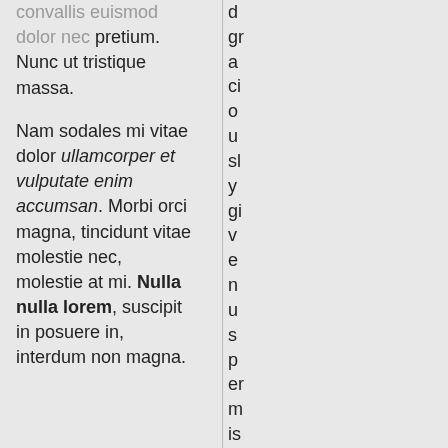convallis euismod dolor nec pretium. Nunc ut tristique massa.
Nam sodales mi vitae dolor ullamcorper et vulputate enim accumsan. Morbi orci magna, tincidunt vitae molestie nec, molestie at mi. Nulla nulla lorem, suscipit in posuere in, interdum non magna.
d gr a ci o u sl y gi v e n u s p er m is si o n to pi g g y b a